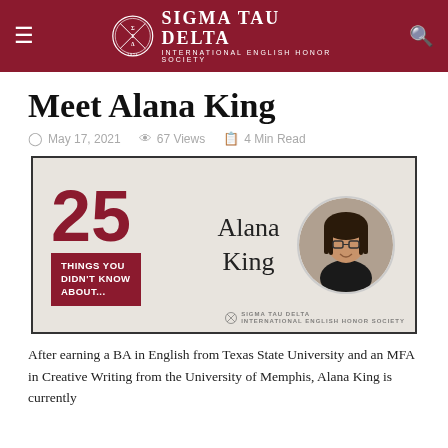Sigma Tau Delta — International English Honor Society
Meet Alana King
May 17, 2021   67 Views   4 Min Read
[Figure (illustration): Promotional graphic showing '25 Things You Didn't Know About...' with the name 'Alana King' and a circular headshot photo of Alana King. The Sigma Tau Delta logo appears in the bottom right corner.]
After earning a BA in English from Texas State University and an MFA in Creative Writing from the University of Memphis, Alana King is currently